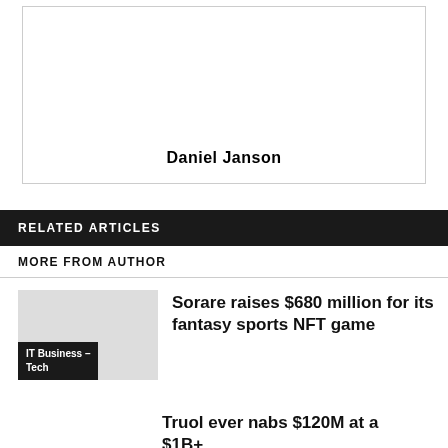[Figure (photo): Author photo placeholder box with name Daniel Janson at the bottom]
Daniel Janson
RELATED ARTICLES
MORE FROM AUTHOR
[Figure (photo): Article thumbnail image placeholder with IT Business - Tech tag]
Sorare raises $680 million for its fantasy sports NFT game
Truol ever nabs $120M at a $1B+